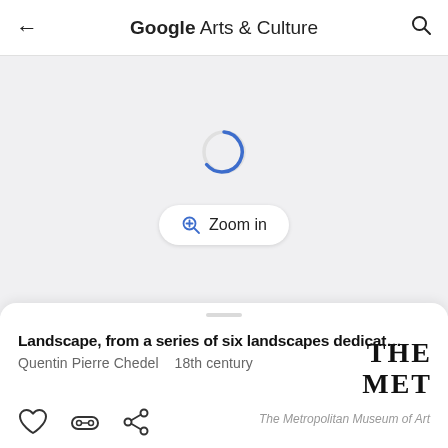Google Arts & Culture
[Figure (screenshot): Gray loading area with a blue circular loading spinner in the center, and a 'Zoom in' button below the spinner]
Landscape, from a series of six landscapes dedicat…
Quentin Pierre Chedel   18th century
[Figure (logo): THE MET logo in bold serif type, two lines: THE / MET]
The Metropolitan Museum of Art